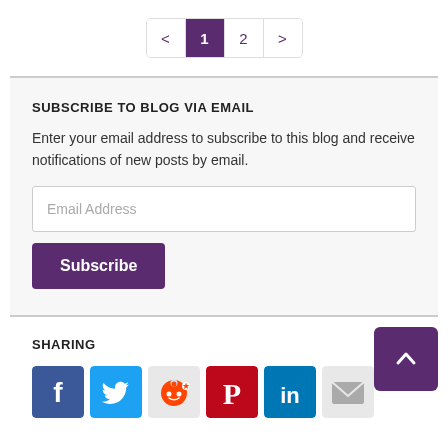[Figure (other): Pagination navigation showing page 1 (active, purple) and page 2, with prev/next arrows]
SUBSCRIBE TO BLOG VIA EMAIL
Enter your email address to subscribe to this blog and receive notifications of new posts by email.
[Figure (other): Email address input field with placeholder text 'Email Address']
[Figure (other): Subscribe button in purple]
SHARING
[Figure (other): Social sharing icons: Facebook, Twitter, Reddit, Pinterest, LinkedIn, Email]
[Figure (other): Back to top button (purple, with up arrow)]